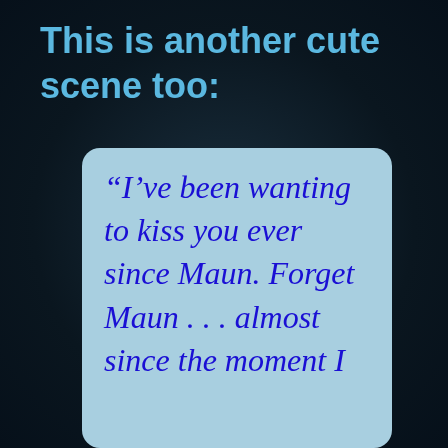This is another cute scene too:
“I’ve been wanting to kiss you ever since Maun. Forget Maun . . . almost since the moment I